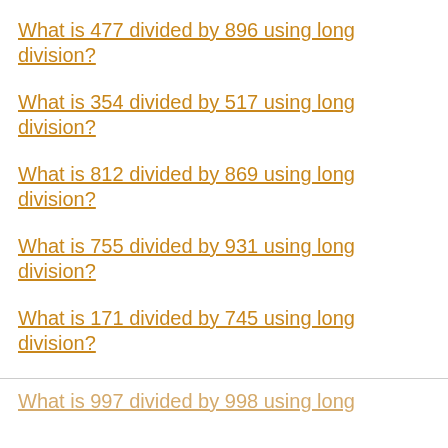What is 477 divided by 896 using long division?
What is 354 divided by 517 using long division?
What is 812 divided by 869 using long division?
What is 755 divided by 931 using long division?
What is 171 divided by 745 using long division?
What is 997 divided by 998 using long division?